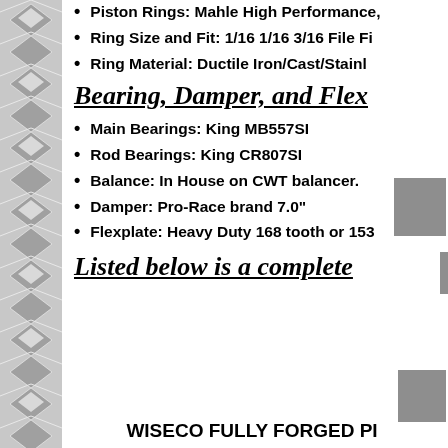Piston Rings: Mahle High Performance,
Ring Size and Fit: 1/16 1/16 3/16 File Fi
Ring Material: Ductile Iron/Cast/Stainl
Bearing, Damper, and Flex
Main Bearings: King MB557SI
Rod Bearings: King CR807SI
Balance: In House on CWT balancer.
Damper: Pro-Race brand 7.0"
Flexplate: Heavy Duty 168 tooth or 153
Listed below is a complete
WISECO FULLY FORGED PI